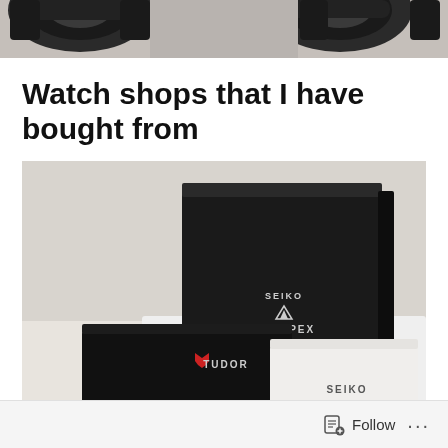[Figure (photo): Top portion of watch or sports product photo, dark mechanical/rubber components visible against light background]
Watch shops that I have bought from
[Figure (photo): Photo of three watch brand boxes: a tall black Seiko Prospex box in the back, a flat black Tudor box on the lower left, and a white Seiko box on the lower right, arranged on a white surface]
Follow ...